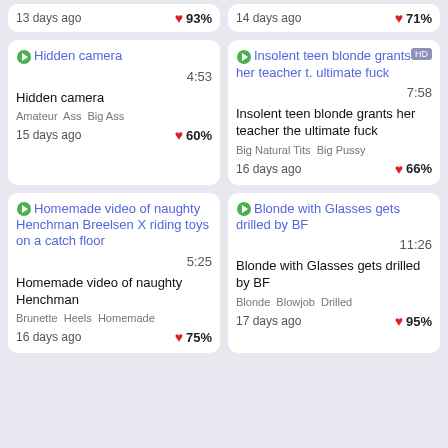13 days ago  93%
14 days ago  71%
[Figure (screenshot): Video thumbnail for Hidden camera]
4:53
Hidden camera
Amateur  Ass  Big Ass
15 days ago  60%
[Figure (screenshot): Video thumbnail for Insolent teen blonde grants her teacher the ultimate fuck]
7:58
Insolent teen blonde grants her teacher the ultimate fuck
Big Natural Tits  Big Pussy
16 days ago  66%
[Figure (screenshot): Video thumbnail for Homemade video of naughty Henchman Breelsen X riding toys on a catch floor]
5:25
Homemade video of naughty Henchman
Brunette  Heels  Homemade
16 days ago  75%
[Figure (screenshot): Video thumbnail for Blonde with Glasses gets drilled by BF]
11:26
Blonde with Glasses gets drilled by BF
Blonde  Blowjob  Drilled
17 days ago  95%